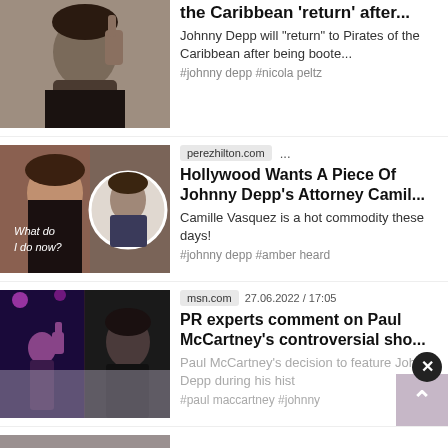[Figure (photo): News article thumbnail: Johnny Depp photo]
the Caribbean 'return' after...
Johnny Depp will "return" to Pirates of the Caribbean after being boote...
#johnny depp #nicola peltz
[Figure (photo): News article thumbnail: Camille Vasquez and Johnny Depp composite image with text 'What do I do now?']
perezhilton.com ...
Hollywood Wants A Piece Of Johnny Depp's Attorney Camil...
Camille Vasquez is a hot commodity these days!
#johnny depp #amber heard
[Figure (photo): News article thumbnail: Paul McCartney concert photos]
msn.com   27.06.2022 / 17:05
PR experts comment on Paul McCartney's controversial sho...
Paul McCartney's decision to feature Johnny Depp during his hist
#paul maccartney #johnny
[Figure (photo): Partially visible bottom news item thumbnail]